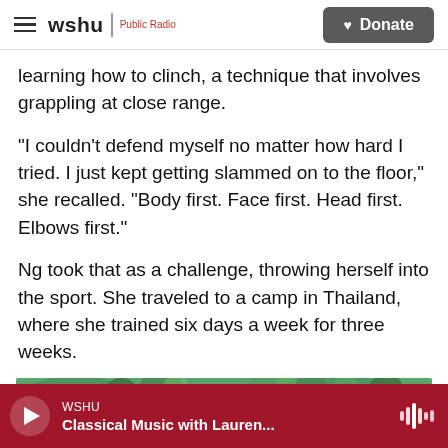wshu | Public Radio  [Donate button]
learning how to clinch, a technique that involves grappling at close range.
"I couldn't defend myself no matter how hard I tried. I just kept getting slammed on to the floor," she recalled. "Body first. Face first. Head first. Elbows first."
Ng took that as a challenge, throwing herself into the sport. She traveled to a camp in Thailand, where she trained six days a week for three weeks.
[Figure (photo): Outdoor photo showing green tree canopy with branches, shot from below looking up]
WSHU  Classical Music with Lauren...